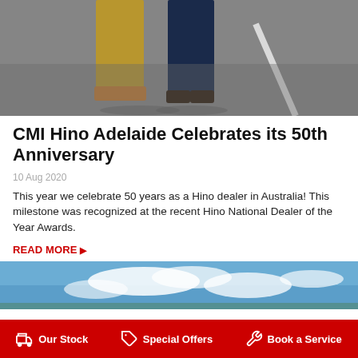[Figure (photo): Two people standing on pavement, visible from waist down. One wearing tan/khaki trousers with brown shoes, other wearing navy suit trousers with dark shoes.]
CMI Hino Adelaide Celebrates its 50th Anniversary
10 Aug 2020
This year we celebrate 50 years as a Hino dealer in Australia! This milestone was recognized at the recent Hino National Dealer of the Year Awards.
READ MORE ▶
[Figure (photo): Bottom portion of page showing blue sky with white clouds, partial view.]
Our Stock   Special Offers   Book a Service